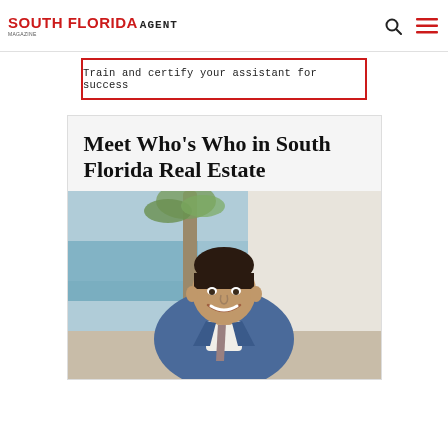SOUTH FLORIDA AGENT Magazine
Train and certify your assistant for success
Meet Who's Who in South Florida Real Estate
[Figure (photo): Professional headshot of a smiling man in a blue suit with a patterned tie, standing in front of a tropical outdoor background with a palm tree and ocean visible.]